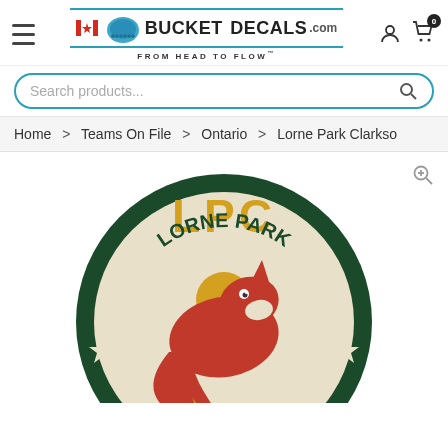[Figure (logo): BucketDecals.com logo with Canadian flag maple leaf, hockey helmet graphic, teal border lines, and tagline FROM HEAD TO FLOW]
Search products...
Home > Teams On File > Ontario > Lorne Park Clarkso
[Figure (logo): LPC Lorne Park Clarkson hockey team circular badge/decal logo on green background with wild animal mascot graphic, red and gold colors]